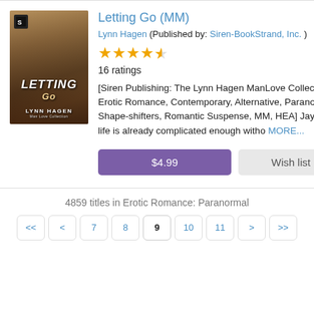[Figure (illustration): Book cover for 'Letting Go' by Lynn Hagen showing a muscular man and a leopard/cheetah, part of the ManLove Collection series published by Siren-BookStrand]
Letting Go (MM)
Lynn Hagen (Published by: Siren-BookStrand, Inc. )
★★★★½ 16 ratings
[Siren Publishing: The Lynn Hagen ManLove Collection: Erotic Romance, Contemporary, Alternative, Paranormal, Shape-shifters, Romantic Suspense, MM, HEA] Jayce's life is already complicated enough witho MORE...
$4.99
Wish list
4859 titles in Erotic Romance: Paranormal
<< < 7 8 9 10 11 > >>